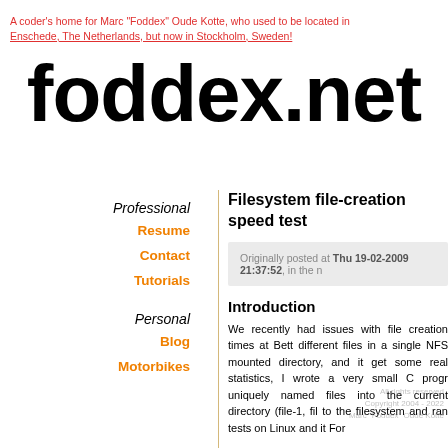A coder's home for Marc "Foddex" Oude Kotte, who used to be located in Enschede, The Netherlands, but now in Stockholm, Sweden!
foddex.net
Professional
Resume
Contact
Tutorials
Personal
Blog
Motorbikes
Filesystem file-creation speed test
Originally posted at Thu 19-02-2009 21:37:52, in the n
Introduction
We recently had issues with file creation times at Bett different files in a single NFS mounted directory, and it get some real statistics, I wrote a very small C progr uniquely named files into the current directory (file-1, fil to the filesystem and ran tests on Linux and it For